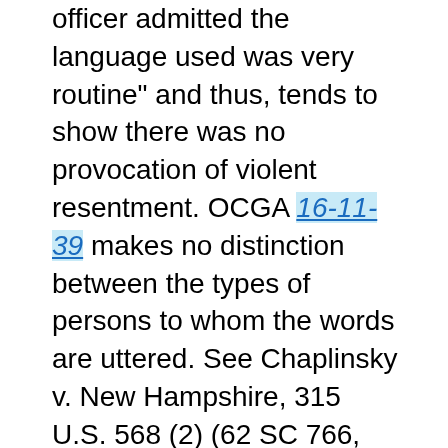officer admitted the language used was very routine" and thus, tends to show there was no provocation of violent resentment. OCGA 16-11-39 makes no distinction between the types of persons to whom the words are uttered. See Chaplinsky v. New Hampshire, 315 U.S. 568 (2) (62 SC 766, 86 LE 1031). The fact that a policeman admits to hearing obscene language during the performance of his duties is not a defense available to the defendant under this code section. Bolden v. State, 148 Ga. App. 315, 316 (2) (251 SE2d 165).
The jury is required only to determine that the words uttered would, as a